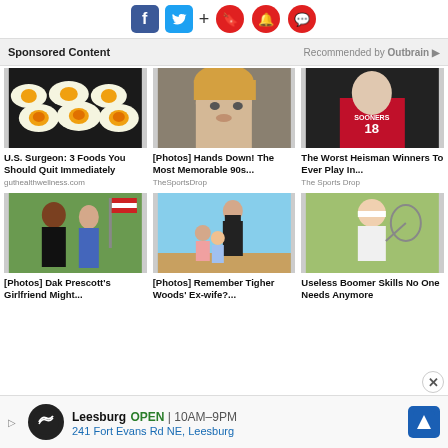[Figure (screenshot): Social media share bar with Facebook, Twitter, plus, bookmark, bell, and comment icons]
Sponsored Content   Recommended by Outbrain
[Figure (photo): Fried eggs on a pan]
U.S. Surgeon: 3 Foods You Should Quit Immediately
guthealthwellness.com
[Figure (photo): Blonde woman lying down]
[Photos] Hands Down! The Most Memorable 90s...
TheSportsDrop
[Figure (photo): Football player in Sooners #18 jersey]
The Worst Heisman Winners To Ever Play In...
The Sports Drop
[Figure (photo): Man and woman posing with American flag in background]
[Photos] Dak Prescott's Girlfriend Might...
[Figure (photo): Woman in bikini on beach with children]
[Photos] Remember Tigher Woods' Ex-wife?...
[Figure (photo): Older man playing tennis]
Useless Boomer Skills No One Needs Anymore
Leesburg  OPEN  10AM–9PM  241 Fort Evans Rd NE, Leesburg